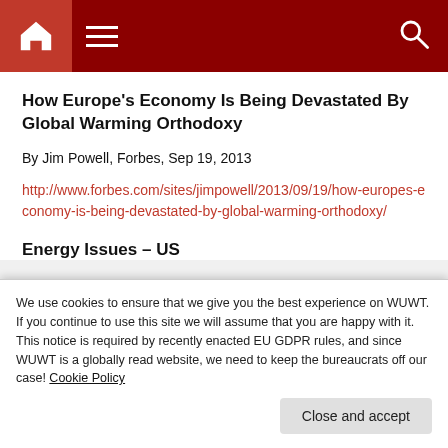Navigation bar with home, menu, and search icons
How Europe's Economy Is Being Devastated By Global Warming Orthodoxy
By Jim Powell, Forbes, Sep 19, 2013
http://www.forbes.com/sites/jimpowell/2013/09/19/how-europes-economy-is-being-devastated-by-global-warming-orthodoxy/
Energy Issues – US
We use cookies to ensure that we give you the best experience on WUWT. If you continue to use this site we will assume that you are happy with it. This notice is required by recently enacted EU GDPR rules, and since WUWT is a globally read website, we need to keep the bureaucrats off our case! Cookie Policy
Close and accept
http://wattsupwiththat.org/2013/09/19/how-europe...